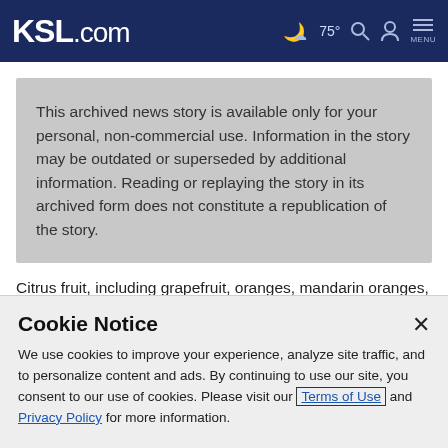KSL.com | 75° | Search | Account | MENU
This archived news story is available only for your personal, non-commercial use. Information in the story may be outdated or superseded by additional information. Reading or replaying the story in its archived form does not constitute a republication of the story.
Citrus fruit, including grapefruit, oranges, mandarin oranges,
Cookie Notice
We use cookies to improve your experience, analyze site traffic, and to personalize content and ads. By continuing to use our site, you consent to our use of cookies. Please visit our Terms of Use and Privacy Policy for more information.